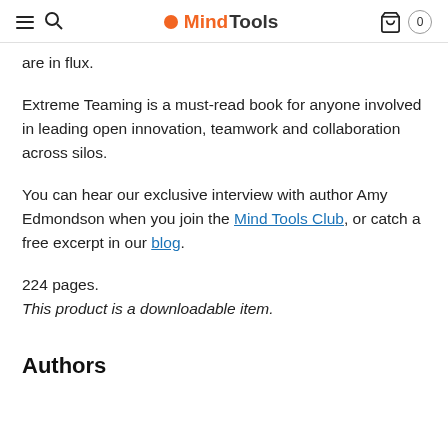MindTools
are in flux.
Extreme Teaming is a must-read book for anyone involved in leading open innovation, teamwork and collaboration across silos.
You can hear our exclusive interview with author Amy Edmondson when you join the Mind Tools Club, or catch a free excerpt in our blog.
224 pages.
This product is a downloadable item.
Authors